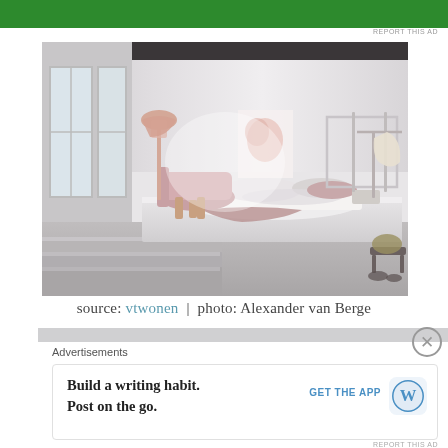[Figure (photo): Green advertisement banner at top of page]
REPORT THIS AD
[Figure (photo): Interior design photo of a minimalist bedroom with a raised platform bed, pink armchair with floor lamp, large windows, abstract wall art, and clothing rack. Light and airy white room with gray concrete steps leading to the platform.]
source: vtwonen  |  photo: Alexander van Berge
[Figure (other): Close X button circle]
Advertisements
[Figure (other): Advertisement: Build a writing habit. Post on the go. GET THE APP [WordPress logo]]
REPORT THIS AD